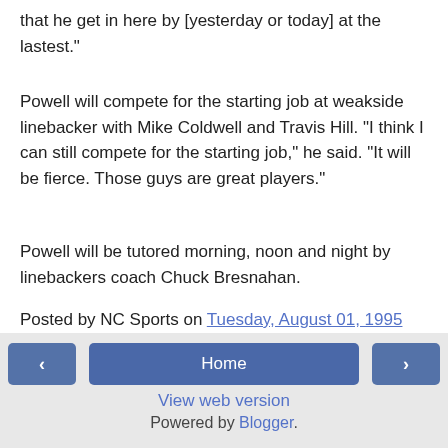that he get in here by [yesterday or today] at the lastest."
Powell will compete for the starting job at weakside linebacker with Mike Coldwell and Travis Hill. "I think I can still compete for the starting job," he said. "It will be fierce. Those guys are great players."
Powell will be tutored morning, noon and night by linebackers coach Chuck Bresnahan.
Posted by NC Sports on Tuesday, August 01, 1995
‹  Home  ›  View web version  Powered by Blogger.